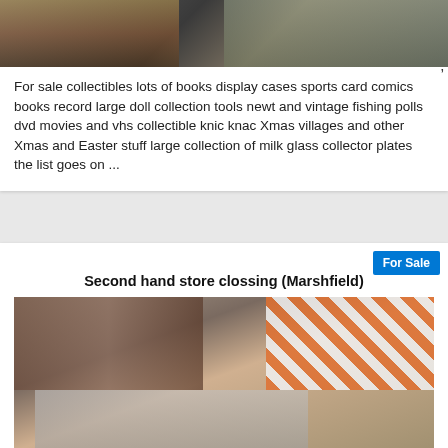[Figure (photo): Photo of collectibles items including display cases, sports cards, and other items on a dark surface]
For sale collectibles lots of books display cases sports card comics books record large doll collection tools newt and vintage fishing polls dvd movies and vhs collectible knic knac Xmas villages and other Xmas and Easter stuff large collection of milk glass collector plates the list goes on ...
For Sale
Second hand store clossing (Marshfield)
[Figure (photo): Interior photo of a second hand store showing shelves with figurines and collectibles, display cases, and an orange and white striped road barrier sign]